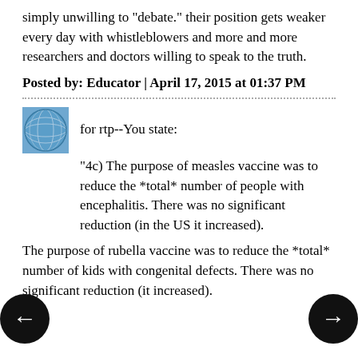simply unwilling to "debate." their position gets weaker every day with whistleblowers and more and more researchers and doctors willing to speak to the truth.
Posted by: Educator | April 17, 2015 at 01:37 PM
[Figure (illustration): Blue globe/sphere avatar icon]
for rtp--You state:
"4c) The purpose of measles vaccine was to reduce the *total* number of people with encephalitis. There was no significant reduction (in the US it increased).
The purpose of rubella vaccine was to reduce the *total* number of kids with congenital defects. There was no significant reduction (it increased).